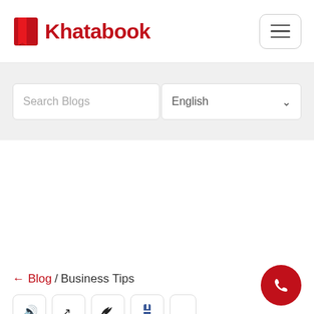Khatabook
[Figure (screenshot): Search Blogs input field and English language selector dropdown]
← Blog / Business Tips
[Figure (infographic): Social media share icons row at bottom (sound, share, twitter/bird, facebook, and one more partially visible)]
[Figure (other): Red circular phone/call button at bottom right]